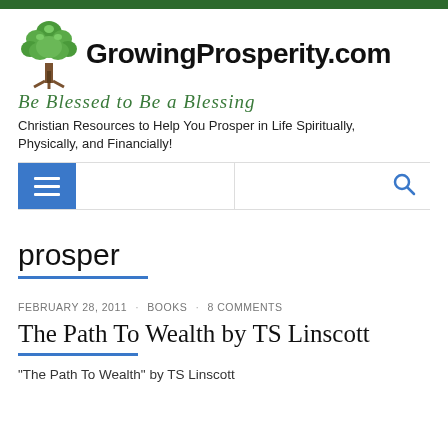GrowingProsperity.com — Be Blessed to Be a Blessing — Christian Resources to Help You Prosper in Life Spiritually, Physically, and Financially!
prosper
FEBRUARY 28, 2011 · BOOKS · 8 COMMENTS
The Path To Wealth by TS Linscott
"The Path To Wealth" by TS Linscott